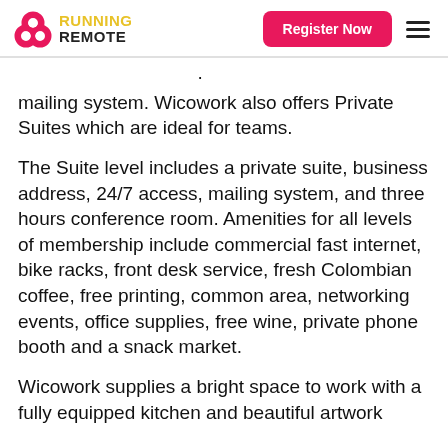Running Remote — Register Now
mailing system. Wicowork also offers Private Suites which are ideal for teams.
The Suite level includes a private suite, business address, 24/7 access, mailing system, and three hours conference room. Amenities for all levels of membership include commercial fast internet, bike racks, front desk service, fresh Colombian coffee, free printing, common area, networking events, office supplies, free wine, private phone booth and a snack market.
Wicowork supplies a bright space to work with a fully equipped kitchen and beautiful artwork